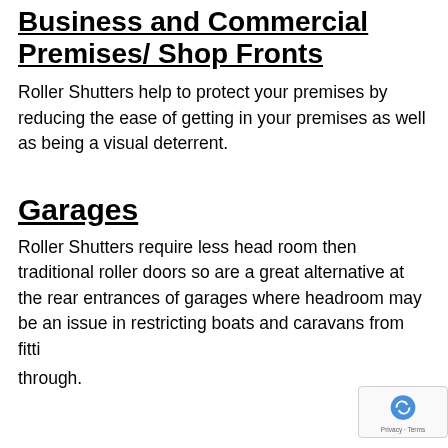Business and Commercial Premises/ Shop Fronts
Roller Shutters help to protect your premises by reducing the ease of getting in your premises as well as being a visual deterrent.
Garages
Roller Shutters require less head room then traditional roller doors so are a great alternative at the rear entrances of garages where headroom may be an issue in restricting boats and caravans from fitting through.